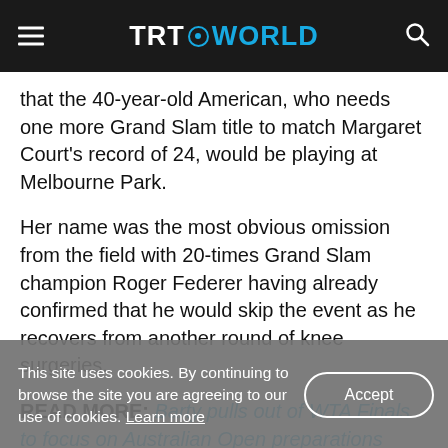TRT WORLD
that the 40-year-old American, who needs one more Grand Slam title to match Margaret Court's record of 24, would be playing at Melbourne Park.
Her name was the most obvious omission from the field with 20-times Grand Slam champion Roger Federer having already confirmed that he would skip the event as he recovers from another round of knee surgeries.
READ MORE: Barty pulls out of WTA Finals to focus on Australian Open preparations
This site uses cookies. By continuing to browse the site you are agreeing to our use of cookies. Learn more